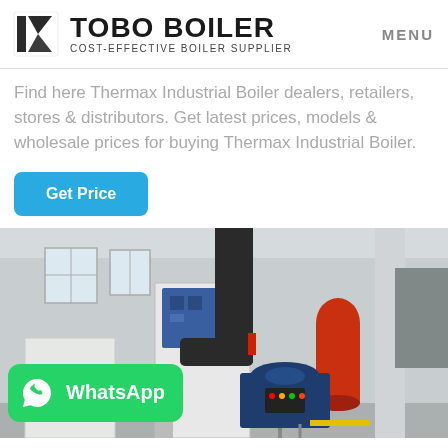TOBO BOILER — COST-EFFECTIVE BOILER SUPPLIER | MENU
Find here Thermax Industrial Boiler dealers, retailers, stores & distributors. Get latest prices, models & wholesale prices for buying Thermax Industrial Boiler.
[Figure (other): Blue 'Get Price' button]
[Figure (photo): Industrial boiler room with large boiler unit, black exhaust pipe stack, red cylindrical component, blue machinery, and a WhatsApp button overlay in the bottom-left corner.]